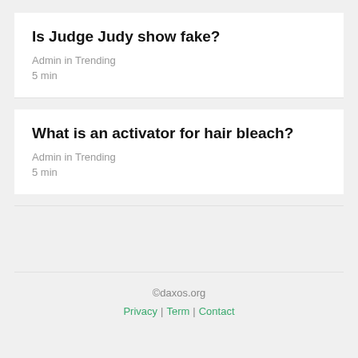Is Judge Judy show fake?
Admin in Trending
5 min
What is an activator for hair bleach?
Admin in Trending
5 min
©daxos.org
Privacy | Term | Contact